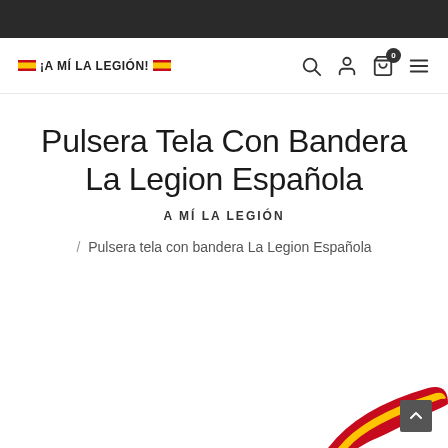¡A MÍ LA LEGIÓN!
Pulsera Tela Con Bandera La Legion Española
A MÍ LA LEGIÓN
/ Pulsera tela con bandera La Legion Española
[Figure (photo): Partial view of a bracelet with Spanish flag colors (red and yellow) visible at the bottom right corner of the page]